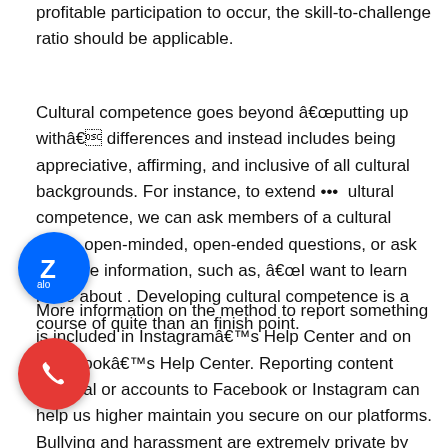profitable participation to occur, the skill-to-challenge ratio should be applicable.
Cultural competence goes beyond âputting up withâ differences and instead includes being appreciative, affirming, and inclusive of all cultural backgrounds. For instance, to extend ... ultural competence, we can ask members of a cultural group open-minded, open-ended questions, or ask for more information, such as, âI want to learn more about . Developing cultural competence is a course of quite than an finish point.
More information on the method to report something is included in Instagramâs Help Center and on Facebookâs Help Center. Reporting content material or accounts to Facebook or Instagram can help us higher maintain you secure on our platforms. Bullying and harassment are extremely private by nature, so in many instances, we'd like a person to report this behavior to us before we are able to determine or take away it.
[Figure (illustration): Blue circular Zalo app button with white Z logo]
[Figure (illustration): Red circular phone/call button with white phone icon]